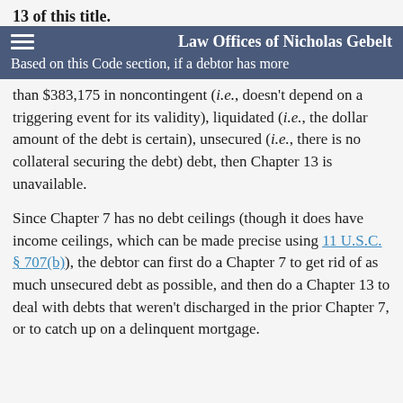13 of this title.
Law Offices of Nicholas Gebelt
Based on this Code section, if a debtor has more than $383,175 in noncontingent (i.e., doesn't depend on a triggering event for its validity), liquidated (i.e., the dollar amount of the debt is certain), unsecured (i.e., there is no collateral securing the debt) debt, then Chapter 13 is unavailable.
Since Chapter 7 has no debt ceilings (though it does have income ceilings, which can be made precise using 11 U.S.C. § 707(b)), the debtor can first do a Chapter 7 to get rid of as much unsecured debt as possible, and then do a Chapter 13 to deal with debts that weren't discharged in the prior Chapter 7, or to catch up on a delinquent mortgage.